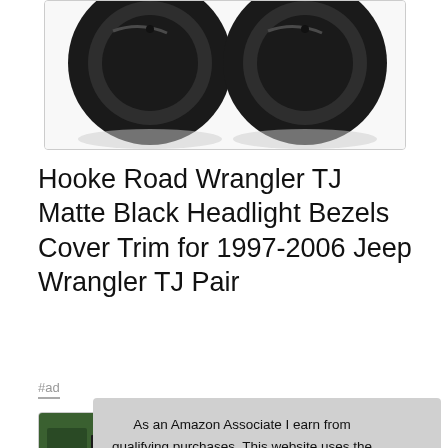[Figure (photo): Product photo showing two matte black circular headlight bezels/rings on white background with reflection]
Hooke Road Wrangler TJ Matte Black Headlight Bezels Cover Trim for 1997-2006 Jeep Wrangler TJ Pair
#ad
[Figure (photo): Row of four product thumbnail images showing jeep and headlight bezel product shots]
As an Amazon Associate I earn from qualifying purchases. This website uses the only necessary cookies to ensure you get the best experience on our website. More information
Hooke Road #ad · Colour:Matte Black, Durable automotive